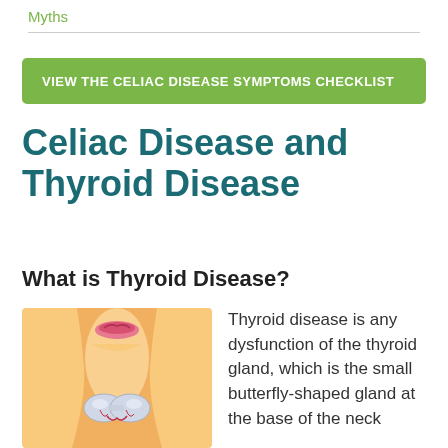Myths
VIEW THE CELIAC DISEASE SYMPTOMS CHECKLIST
Celiac Disease and Thyroid Disease
What is Thyroid Disease?
[Figure (illustration): Medical illustration of a human neck/throat showing the thyroid gland as a butterfly-shaped structure at the base of the neck, with stylized lips visible above.]
Thyroid disease is any dysfunction of the thyroid gland, which is the small butterfly-shaped gland at the base of the neck